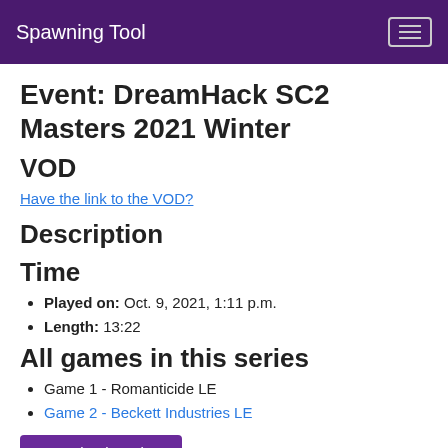Spawning Tool
Event: DreamHack SC2 Masters 2021 Winter
VOD
Have the link to the VOD?
Description
Time
Played on: Oct. 9, 2021, 1:11 p.m.
Length: 13:22
All games in this series
Game 1 - Romanticide LE
Game 2 - Beckett Industries LE
Download Replay